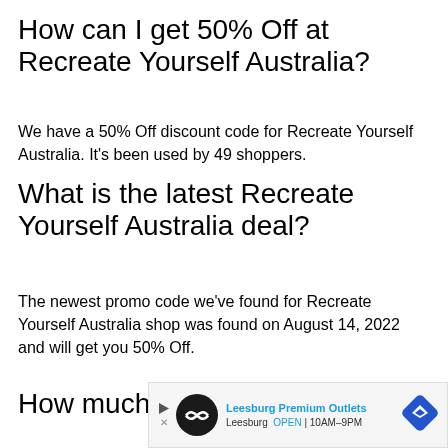How can I get 50% Off at Recreate Yourself Australia?
We have a 50% Off discount code for Recreate Yourself Australia. It's been used by 49 shoppers.
What is the latest Recreate Yourself Australia deal?
The newest promo code we've found for Recreate Yourself Australia shop was found on August 14, 2022 and will get you 50% Off.
How much will I save with Recreate Yourself Australia deals?
Recent shoppers have saved an average of $7 when they used our Recreate Yourself Australia deals.
[Figure (other): Advertisement banner for Leesburg Premium Outlets showing logo, name, location open hours 10AM-9PM, and a navigation icon]